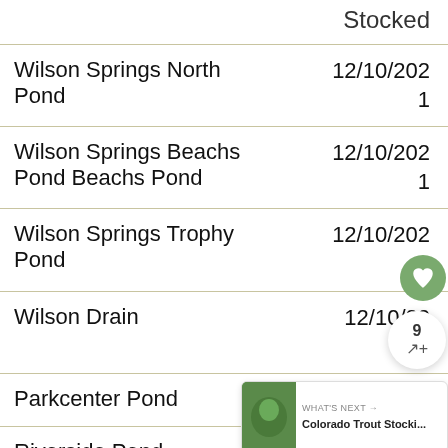|  | Stocked |
| --- | --- |
| Wilson Springs North Pond | 12/10/2021 |
| Wilson Springs Beachs Pond Beachs Pond | 12/10/2021 |
| Wilson Springs Trophy Pond | 12/10/2021 |
| Wilson Drain | 12/10/2021 |
| Parkcenter Pond | 12/9/2021 |
| Riverside Pond | 12/... |
| Wilson Springs North Pond | 12/3/2021 |